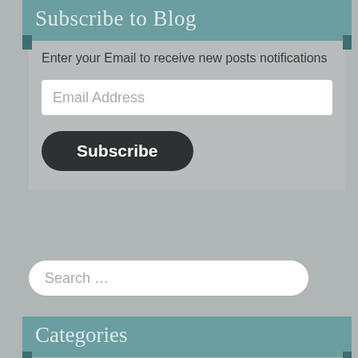Subscribe to Blog
Enter your Email to receive new posts notifications
Email Address
Subscribe
Search …
Categories
autumn
Barns and Farms
Bars and Restaurants
Benchmarks
Bridges